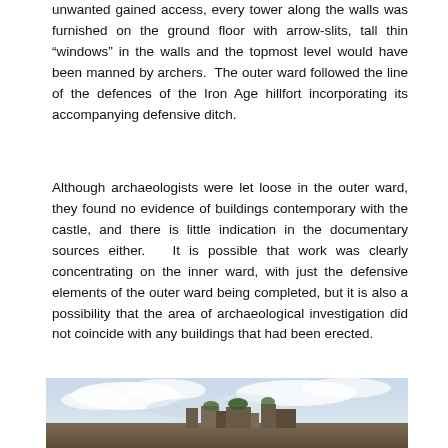unwanted gained access, every tower along the walls was furnished on the ground floor with arrow-slits, tall thin “windows” in the walls and the topmost level would have been manned by archers.  The outer ward followed the line of the defences of the Iron Age hillfort incorporating its accompanying defensive ditch.
Although archaeologists were let loose in the outer ward, they found no evidence of buildings contemporary with the castle, and there is little indication in the documentary sources either.   It is possible that work was clearly concentrating on the inner ward, with just the defensive elements of the outer ward being completed, but it is also a possibility that the area of archaeological investigation did not coincide with any buildings that had been erected.
[Figure (photo): Photograph of castle ruins against a cloudy sky, showing stone walls with vegetation growing on top]